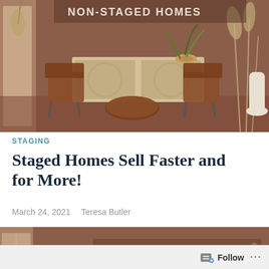[Figure (photo): Interior photo of a staged living room with warm brown walls, leather chairs, rattan sideboard, pampas grass decor. Text overlay reads 'NON-STAGED HOMES' at the top.]
STAGING
Staged Homes Sell Faster and for More!
March 24, 2021   Teresa Butler
[Figure (photo): Interior photo of a staged room with brown walls and pampas grass. Text overlay reads 'STAGED HOMES SELL 88% FASTER AND FOR 20% MORE PROFIT THAN NON-STAGED HOMES'.]
Follow ...